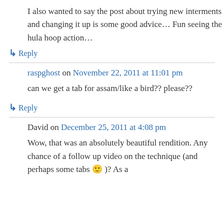I also wanted to say the post about trying new interments and changing it up is some good advice… Fun seeing the hula hoop action…
↳ Reply
raspghost on November 22, 2011 at 11:01 pm
can we get a tab for assam/like a bird?? please??
↳ Reply
David on December 25, 2011 at 4:08 pm
Wow, that was an absolutely beautiful rendition. Any chance of a follow up video on the technique (and perhaps some tabs 🙂 )? As a